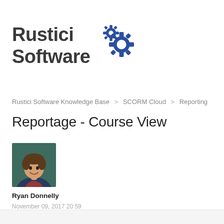[Figure (logo): Rustici Software logo with two interlocking gear icons in blue]
Rustici Software Knowledge Base > SCORM Cloud > Reporting
Reportage - Course View
[Figure (photo): Headshot photo of Ryan Donnelly, a man in a blazer smiling, against a dark teal background]
Ryan Donnelly
November 09, 2017 20:59